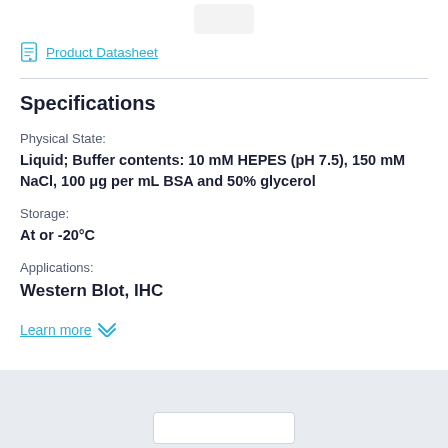[Figure (logo): Partially visible company logo at top center]
Product Datasheet
Specifications
Physical State:
Liquid; Buffer contents: 10 mM HEPES (pH 7.5), 150 mM NaCl, 100 μg per mL BSA and 50% glycerol
Storage:
At or -20°C
Applications:
Western Blot, IHC
Learn more